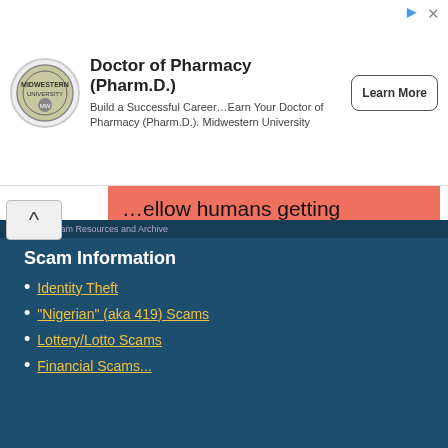[Figure (infographic): Advertisement banner for Midwestern University Doctor of Pharmacy (Pharm.D.) with university logo, text, and Learn More button]
...ellow humans getting scammed out of their hard-earned money by low-lives. Consider switching off your AdBlocker (if you use one) or contributing directly by one of the links below. Thank you for reading!
[Figure (infographic): Donate button with PayPal and credit card payment icons (VISA, Mastercard, Discover, Amex) on salmon/coral background]
Scamalot Scam Resources and Archive
Scam Information
Identity Theft
"Nigerian" (aka 419) Scams
Lottery/Lotto Scams
Financial Scams...